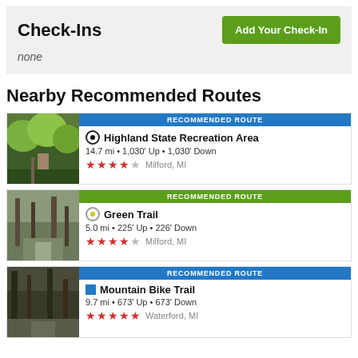Check-Ins
Add Your Check-In
none
Nearby Recommended Routes
RECOMMENDED ROUTE
[Figure (photo): Forest trail photo with green foliage and trees]
Highland State Recreation Area
14.7 mi • 1,030' Up • 1,030' Down
★★★★☆ Milford, MI
RECOMMENDED ROUTE
[Figure (photo): Wooded trail photo with bare trees]
Green Trail
5.0 mi • 225' Up • 226' Down
★★★½☆ Milford, MI
RECOMMENDED ROUTE
[Figure (photo): Dark forest trail photo]
Mountain Bike Trail
9.7 mi • 673' Up • 673' Down
★★★★★ Waterford, MI